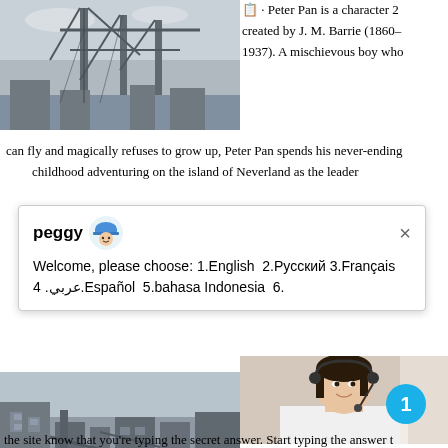[Figure (photo): Industrial machinery/construction site with cranes, top left]
📋 · Peter Pan is a character 2 created by J. M. Barrie (1860– 1937). A mischievous boy who can fly and magically refuses to grow up, Peter Pan spends his never-ending childhood adventuring on the island of Neverland as the leader
[Figure (screenshot): Chat popup from 'peggy' with avatar icon showing: 'Welcome, please choose: 1.English 2.Русский 3.Français عربي 4.Español 5.bahasa Indonesia 6.' and a close X button]
[Figure (photo): Industrial construction site image, bottom left]
[Figure (photo): Customer service woman with headset, with teal badge showing '1', and Arabic chat button below]
the site know that you're typing the secret answer. Start typing the answer t